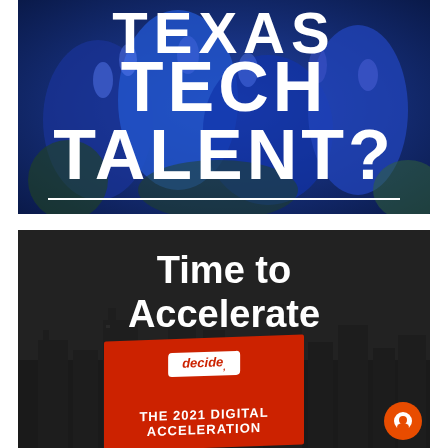[Figure (illustration): Top promotional image with bluebonnet flower background and large white bold text reading 'TEXAS TECH TALENT?' with a white underline. Dark blue floral background.]
[Figure (illustration): Bottom promotional image with dark city skyline background. White bold text reads 'Time to Accelerate'. Below it a red book cover with 'decide' badge and text 'THE 2021 DIGITAL ACCELERATION' is visible. Orange chat button in bottom right corner.]